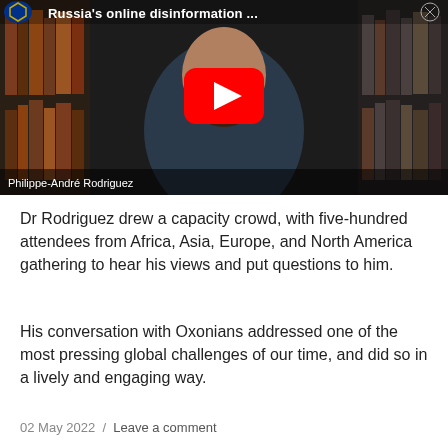[Figure (screenshot): YouTube video thumbnail showing a bearded man in front of a bookshelf. Title text reads 'Russia's online disinformation ...' with a YouTube play button overlay. Caption at bottom reads 'Philippe-André Rodriguez'.]
Dr Rodriguez drew a capacity crowd, with five-hundred attendees from Africa, Asia, Europe, and North America gathering to hear his views and put questions to him.
His conversation with Oxonians addressed one of the most pressing global challenges of our time, and did so in a lively and engaging way.
02 May 2022  /  Leave a comment